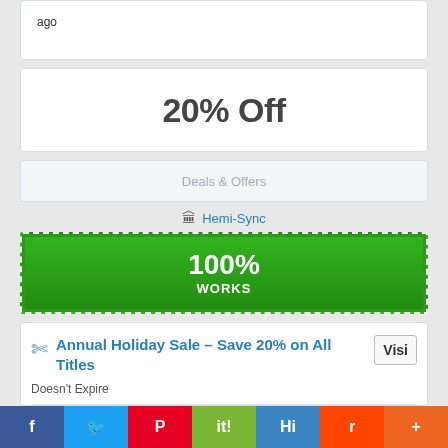ago
20% Off
Deals & Offers
🏛 Hemi-Sync
100% WORKS
Annual Holiday Sale – Save 20% on All Titles
Visi
Doesn't Expire
Annual Holiday Sale – Save 20% on All Titles. Check out this deal…!
Add Favorite last used 07 months 21 days 03 hours
f  t  P  it!  H  r  +